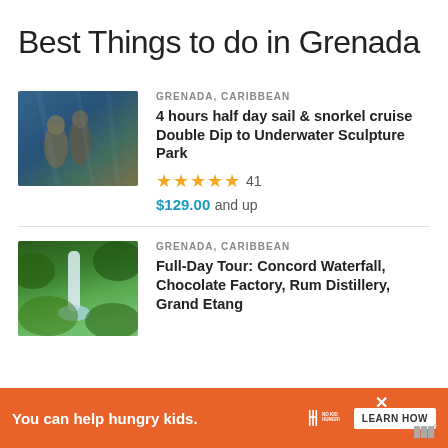Best Things to do in Grenada
[Figure (photo): Underwater sculpture with humanoid figures covered in coral and marine growth]
GRENADA, CARIBBEAN
4 hours half day sail & snorkel cruise Double Dip to Underwater Sculpture Park
★★★★★ 41
$129.00 and up
[Figure (photo): Waterfall surrounded by tropical green vegetation]
GRENADA, CARIBBEAN
Full-Day Tour: Concord Waterfall, Chocolate Factory, Rum Distillery, Grand Etang
[Figure (other): Advertisement banner: You can help hungry kids. No Kid Hungry. LEARN HOW]